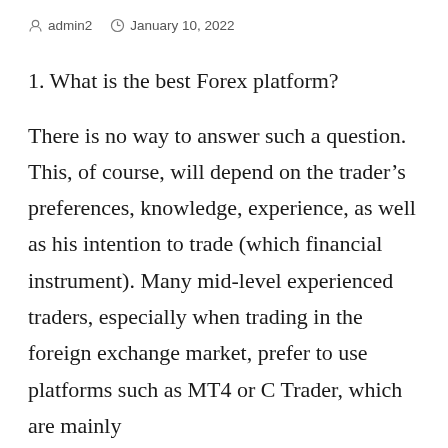admin2   January 10, 2022
1. What is the best Forex platform?
There is no way to answer such a question. This, of course, will depend on the trader’s preferences, knowledge, experience, as well as his intention to trade (which financial instrument). Many mid-level experienced traders, especially when trading in the foreign exchange market, prefer to use platforms such as MT4 or C Trader, which are mainly